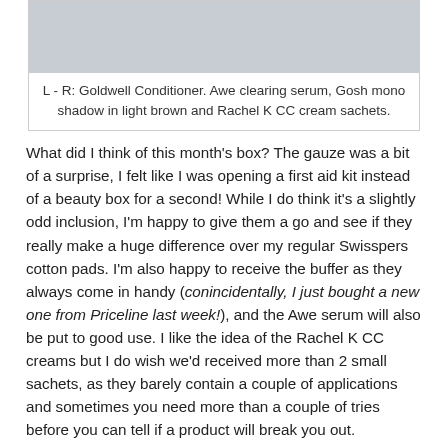[Figure (photo): Photo of beauty box products including Goldwell Conditioner, Awe clearing serum, Gosh mono shadow in light brown and Rachel K CC cream sachets arranged together]
L - R: Goldwell Conditioner. Awe clearing serum, Gosh mono shadow in light brown and Rachel K CC cream sachets.
What did I think of this month's box? The gauze was a bit of a surprise, I felt like I was opening a first aid kit instead of a beauty box for a second! While I do think it's a slightly odd inclusion, I'm happy to give them a go and see if they really make a huge difference over my regular Swisspers cotton pads. I'm also happy to receive the buffer as they always come in handy (conincidentally, I just bought a new one from Priceline last week!), and the Awe serum will also be put to good use. I like the idea of the Rachel K CC creams but I do wish we'd received more than 2 small sachets, as they barely contain a couple of applications and sometimes you need more than a couple of tries before you can tell if a product will break you out.
The Remedica body butter smells amazing, so I'm looking